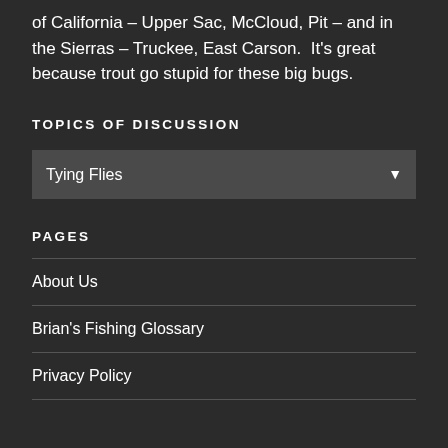of California – Upper Sac, McCloud, Pit – and in the Sierras – Truckee, East Carson.  It's great because trout go stupid for these big bugs.
TOPICS OF DISCUSSION
Tying Flies
PAGES
About Us
Brian's Fishing Glossary
Privacy Policy